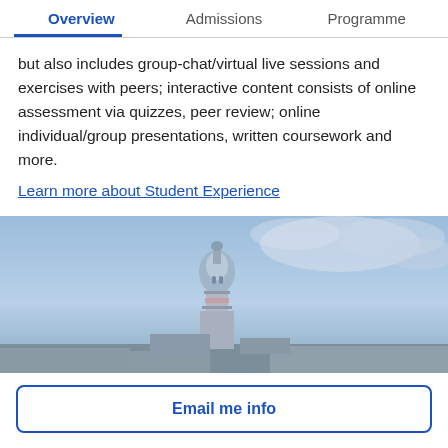Overview  Admissions  Programme
but also includes group-chat/virtual live sessions and exercises with peers; interactive content consists of online assessment via quizzes, peer review; online individual/group presentations, written coursework and more.
Learn more about Student Experience
[Figure (photo): A cityscape photo showing a prominent domed/ornate tower or building against a blue sky with clouds. Low buildings visible in the background near the horizon.]
Email me info